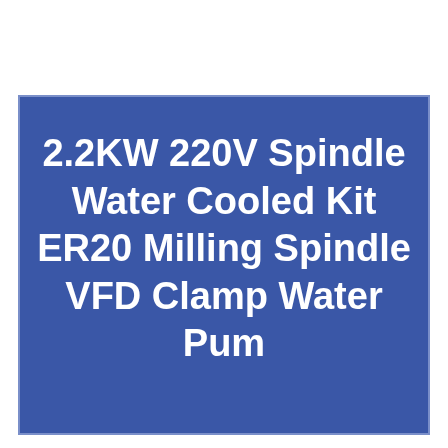2.2KW 220V Spindle Water Cooled Kit ER20 Milling Spindle VFD Clamp Water Pum